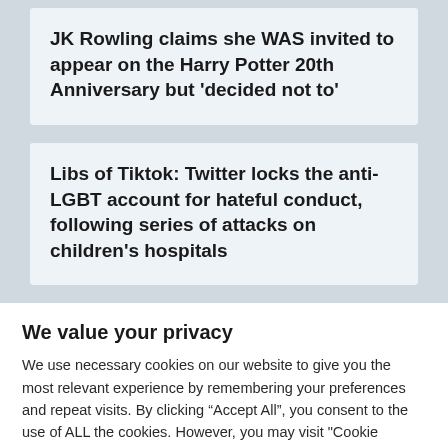JK Rowling claims she WAS invited to appear on the Harry Potter 20th Anniversary but 'decided not to'
Libs of Tiktok: Twitter locks the anti-LGBT account for hateful conduct, following series of attacks on children's hospitals
We value your privacy
We use necessary cookies on our website to give you the most relevant experience by remembering your preferences and repeat visits. By clicking “Accept All”, you consent to the use of ALL the cookies. However, you may visit "Cookie Settings" to provide a controlled consent.
Cookie Settings | Accept and close